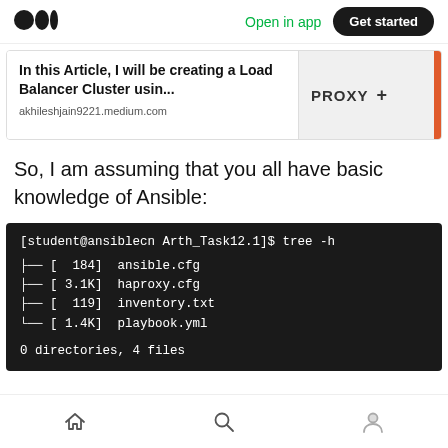Medium logo | Open in app | Get started
[Figure (screenshot): Article preview card showing 'In this Article, I will be creating a Load Balancer Cluster usin...' from akhileshjain9221.medium.com with PROXY label and orange bar]
So, I am assuming that you all have basic knowledge of Ansible:
[Figure (screenshot): Terminal window showing: [student@ansiblecn Arth_Task12.1]$ tree -h with output listing ansible.cfg [184], haproxy.cfg [3.1K], inventory.txt [119], playbook.yml [1.4K] and summary '0 directories, 4 files']
Navigation bar with home, search, and profile icons